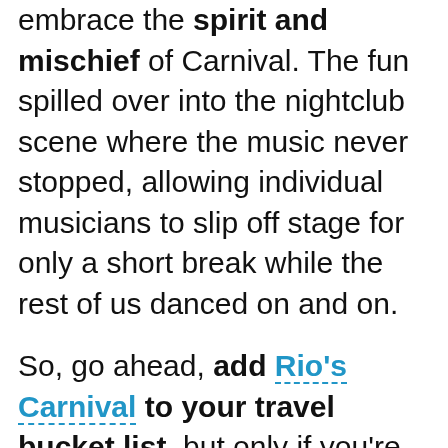embrace the spirit and mischief of Carnival. The fun spilled over into the nightclub scene where the music never stopped, allowing individual musicians to slip off stage for only a short break while the rest of us danced on and on.
So, go ahead, add Rio's Carnival to your travel bucket list, but only if you're ready to accept that life as you know it today will never – ever – be the same again.